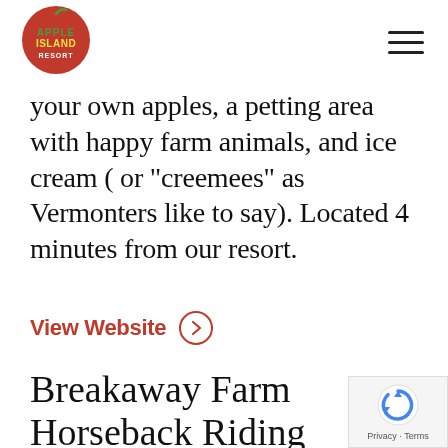Apple Island Resort logo and navigation
your own apples, a petting area with happy farm animals, and ice cream ( or "creemees" as Vermonters like to say). Located 4 minutes from our resort.
View Website
Breakaway Farm Horseback Riding